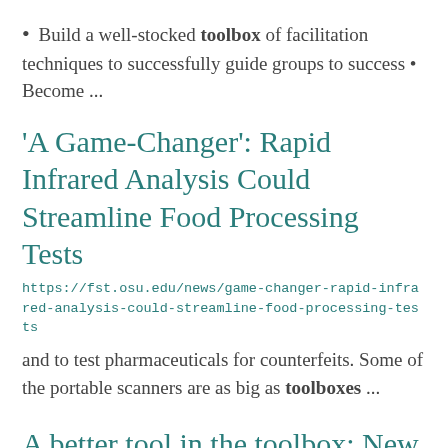• Build a well-stocked toolbox of facilitation techniques to successfully guide groups to success • Become ...
'A Game-Changer': Rapid Infrared Analysis Could Streamline Food Processing Tests
https://fst.osu.edu/news/game-changer-rapid-infrared-analysis-could-streamline-food-processing-tests
and to test pharmaceuticals for counterfeits. Some of the portable scanners are as big as toolboxes ...
A better tool in the toolbox: New